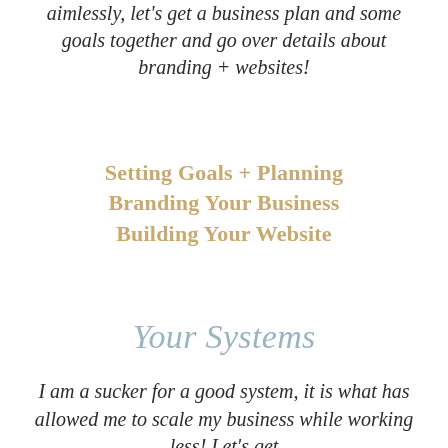aimlessly, let's get a business plan and some goals together and go over details about branding + websites!
Setting Goals + Planning
Branding Your Business
Building Your Website
Your Systems
I am a sucker for a good system, it is what has allowed me to scale my business while working less! Let's get